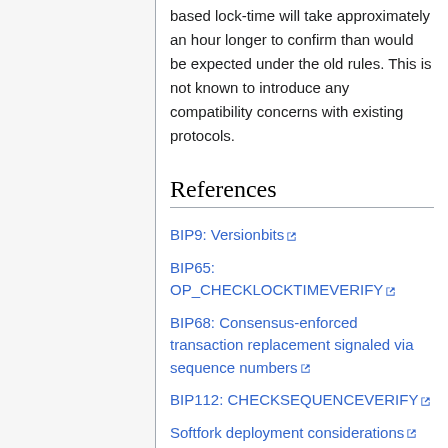based lock-time will take approximately an hour longer to confirm than would be expected under the old rules. This is not known to introduce any compatibility concerns with existing protocols.
References
BIP9: Versionbits
BIP65: OP_CHECKLOCKTIMEVERIFY
BIP68: Consensus-enforced transaction replacement signaled via sequence numbers
BIP112: CHECKSEQUENCEVERIFY
Softfork deployment considerations
Version bits